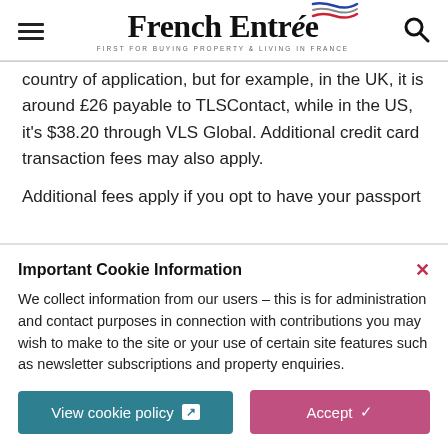French Entrée — FIRST FOR BUYING PROPERTY & LIVING IN FRANCE
country of application, but for example, in the UK, it is around £26 payable to TLSContact, while in the US, it's $38.20 through VLS Global. Additional credit card transaction fees may also apply.
Additional fees apply if you opt to have your passport
Important Cookie Information
We collect information from our users – this is for administration and contact purposes in connection with contributions you may wish to make to the site or your use of certain site features such as newsletter subscriptions and property enquiries.
View cookie policy
Accept